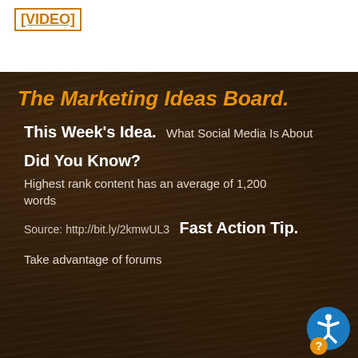[VIDEO]
The Marketing Ideas Board.
This Week's Idea.
What Social Media Is About
Did You Know?
Highest rank content has an average of 1,200 words
Source: http://bit.ly/2kmwUL3
Fast Action Tip.
Take advantage of forums